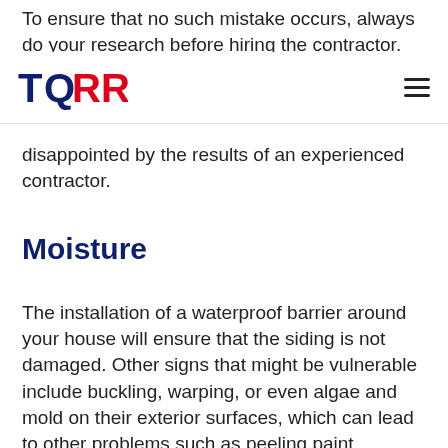To ensure that no such mistake occurs, always do your research before hiring the contractor. Always
TQRR [logo] | hamburger menu
disappointed by the results of an experienced contractor.
Moisture
The installation of a waterproof barrier around your house will ensure that the siding is not damaged. Other signs that might be vulnerable include buckling, warping, or even algae and mold on their exterior surfaces, which can lead to other problems such as peeling paint.